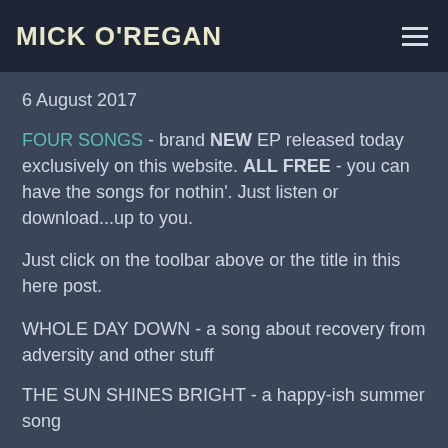MICK O'REGAN
6 August 2017
FOUR SONGS - brand NEW EP released today exclusively on this website. ALL FREE - you can have the songs for nothin'. Just listen or download...up to you.
Just click on the toolbar above or the title in this here post.
WHOLE DAY DOWN - a song about recovery from adversity and other stuff
THE SUN SHINES BRIGHT - a happy-ish summer song